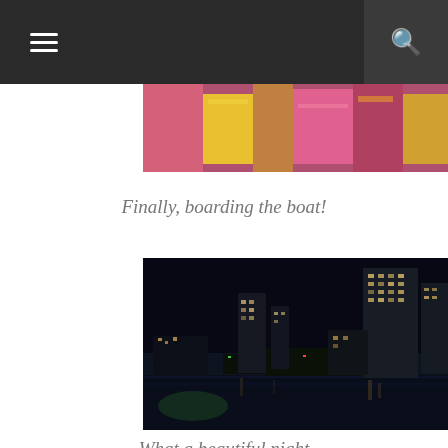[Figure (photo): Top portion of a photo showing colorful clothing or fabric items, partially visible at the top of the page]
Finally, boarding the boat!
[Figure (photo): Night cityscape photo taken from a boat on a river, showing illuminated skyscrapers and highrise buildings reflected on dark water, Bangkok skyline at night]
What a beautiful night